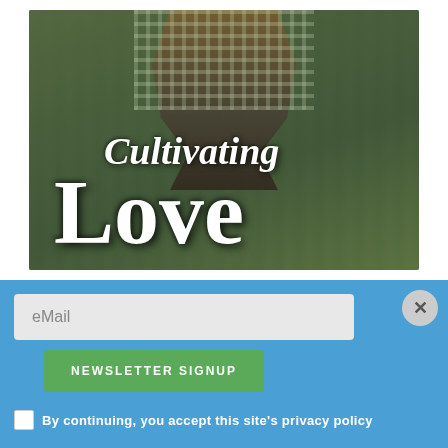[Figure (illustration): Book cover for 'Cultivating Love' showing a person in plaid shirt standing outdoors with greenery in the background. Large white text reads 'Cultivating Love' in serif font.]
eMail
NEWSLETTER SIGNUP
By continuing, you accept this site's privacy policy